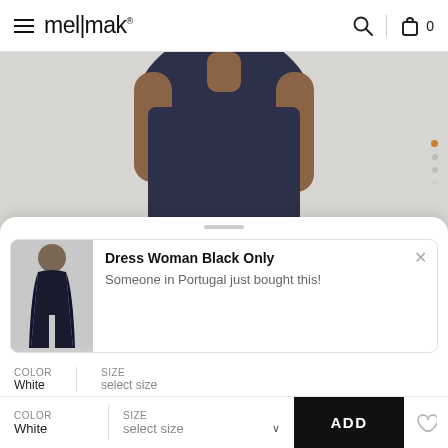mellmak  🔍  🛍 0
[Figure (photo): A model wearing white jeans and a dark navy top, shown from waist up. The image focuses on the white denim jeans with a button closure.]
Dress Woman Black Only
Someone in Portugal just bought this!
Color: White   Size: select size
ADD